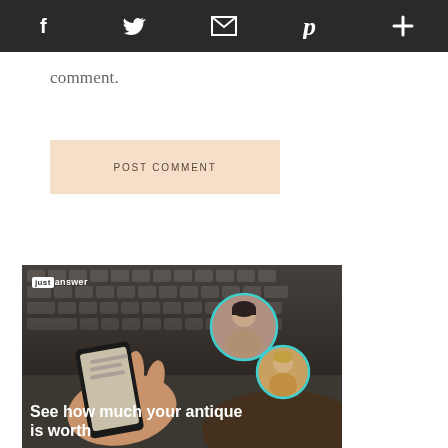Social share bar with icons: Facebook, Twitter, Email, Pinterest, More
comment.
POST COMMENT
[Figure (photo): Advertisement image for JustAnswer service showing a laptop keyboard, a hand holding a smartphone, two circular portrait photos of smiling women with teal borders, logo reading 'just answer', and bold white headline text 'See how much your antique is worth']